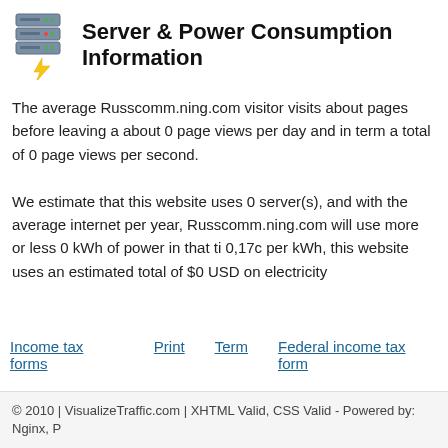Server & Power Consumption Information
The average Russcomm.ning.com visitor visits about pages before leaving a about 0 page views per day and in term a total of 0 page views per second.
We estimate that this website uses 0 server(s), and with the average internet per year, Russcomm.ning.com will use more or less 0 kWh of power in that ti 0,17c per kWh, this website uses an estimated total of $0 USD on electricity
Income tax forms   Print   Term   Federal income tax form
© 2010 | VisualizeTraffic.com | XHTML Valid, CSS Valid - Powered by: Nginx, P